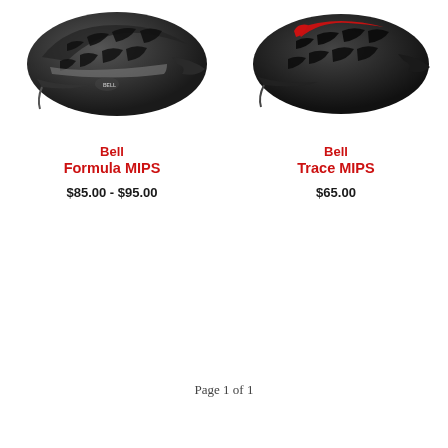[Figure (photo): Bell Formula MIPS bicycle helmet in matte black with grey accents, side view]
[Figure (photo): Bell Trace MIPS bicycle helmet in matte black with red accents, side/front view]
Bell
Formula MIPS
$85.00 - $95.00
Bell
Trace MIPS
$65.00
Page 1 of 1